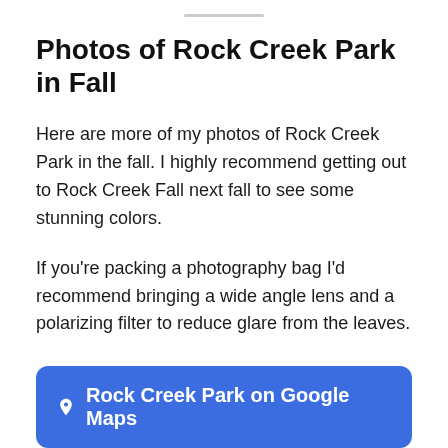Photos of Rock Creek Park in Fall
Here are more of my photos of Rock Creek Park in the fall. I highly recommend getting out to Rock Creek Fall next fall to see some stunning colors.
If you’re packing a photography bag I’d recommend bringing a wide angle lens and a polarizing filter to reduce glare from the leaves.
Rock Creek Park on Google Maps